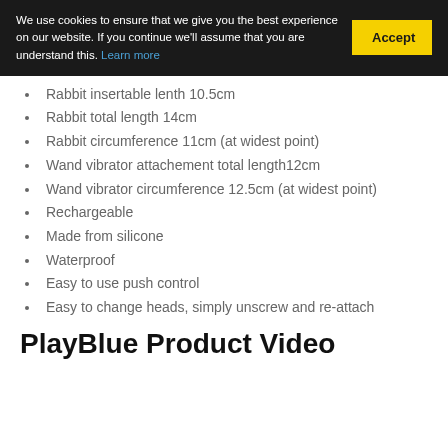We use cookies to ensure that we give you the best experience on our website. If you continue we'll assume that you are understand this. Learn more
Rabbit insertable lenth 10.5cm
Rabbit total length 14cm
Rabbit circumference 11cm (at widest point)
Wand vibrator attachement total length12cm
Wand vibrator circumference 12.5cm (at widest point)
Rechargeable
Made from silicone
Waterproof
Easy to use push control
Easy to change heads, simply unscrew and re-attach
PlayBlue Product Video